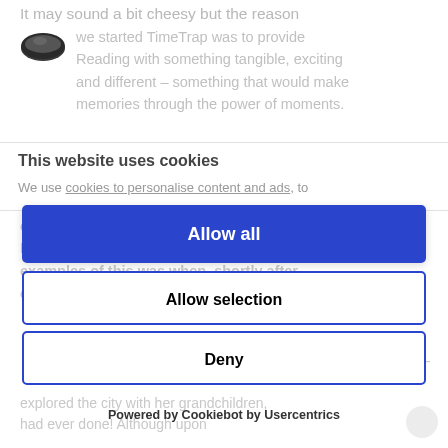It may sound a bit cheesy but the reason
[Figure (logo): TimeTrap circular logo icon (dark oval shape)]
we started TimeTrap was to provide Reading with something tangible, exciting and different – something that would make memories through the power of moments.
This website uses cookies
We use cookies to personalise content and ads, to
on our sister company – Imaginarium Design's – blog. One of our favourite examples of this was when, shortly after opening our venue on Friar Street in 2017,
Allow all
we had a multi-generational team visit to celebrate the [text] their [text]. The [text] [text] [text] [text] [text] [text] were not sure what to expect, but upon finishing the room, this lovely lady
Allow selection
Deny
explored the city with her grandchildren, had ever done! Although upon
Powered by Cookiebot by Usercentrics